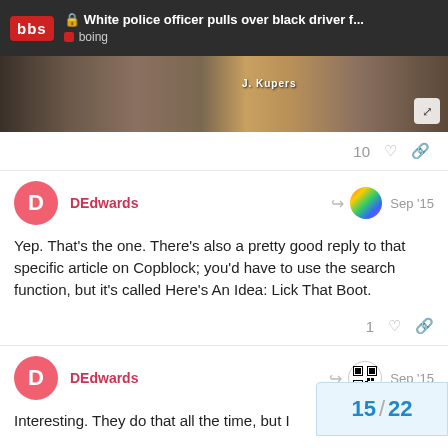White police officer pulls over black driver f... | boing
[Figure (photo): Partial image of hands holding a red item, possibly a book or wallet, with text 'J. Kupers' visible]
DEdwards Sep '15
Yep. That's the one. There's also a pretty good reply to that specific article on Copblock; you'd have to use the search function, but it's called Here's An Idea: Lick That Boot.
DEdwards Sep '15
Interesting. They do that all the time, but I